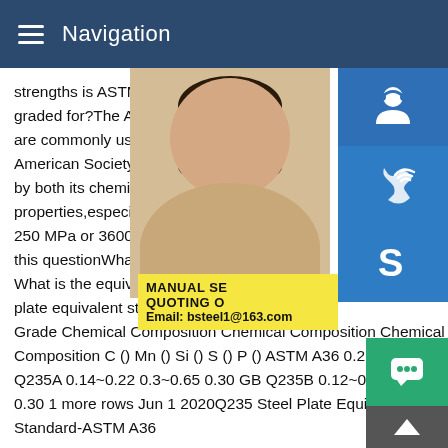Navigation
strengths is ASTM A36 graded for?What s graded for?The ASTM A36 standard cover are commonly used in construction and ot American Society for Testing and Materials by both its chemical composition and mec properties,especially yield strength which 250 MPa or 36000 psi.What is ASTM A36 this questionWhat is the equivalent DIN st What is the equivalent DIN steel of ASTM plate equivalent steel standard-astm a36 S Grade Chemical Composition Chemical Composition Chemical Composition C () Mn () Si () S () P () ASTM A36 0.26 0.40 GB Q235A 0.14~0.22 0.3~0.65 0.30 GB Q235B 0.12~0.20 0.30~0 0.30 1 more rows Jun 1 2020Q235 Steel Plate Equivalent Stee Standard-ASTM A36
[Figure (photo): Woman with headset, customer service representative photo]
[Figure (infographic): Blue sidebar icons: headset/support icon, phone/call icon, Skype icon]
[Figure (infographic): Yellow promotional box with text: MANUAL SE, QUOTING O, Email: bsteel1@163.com]
[Figure (infographic): Green chat button at bottom right, grey up-arrow button below it]